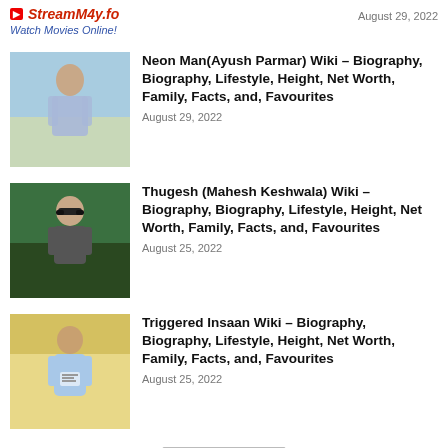StreamM4y.to | Watch Movies Online | August 29, 2022
[Figure (photo): Photo of a young man at the beach wearing a printed short-sleeve shirt]
Neon Man(Ayush Parmar) Wiki – Biography, Biography, Lifestyle, Height, Net Worth, Family, Facts, and, Favourites
August 29, 2022
[Figure (photo): Photo of a young man wearing sunglasses and a dark blazer with greenery background]
Thugesh (Mahesh Keshwala) Wiki – Biography, Biography, Lifestyle, Height, Net Worth, Family, Facts, and, Favourites
August 25, 2022
[Figure (photo): Photo of a young man wearing a light blue hoodie with a yellow background]
Triggered Insaan Wiki – Biography, Biography, Lifestyle, Height, Net Worth, Family, Facts, and, Favourites
August 25, 2022